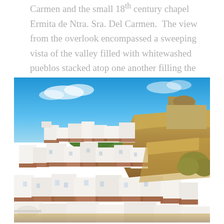Carmen and the small 18th century chapel Ermita de Ntra. Sra. Del Carmen.  The view from the overlook encompassed a sweeping vista of the valley filled with whitewashed pueblos stacked atop one another filling the valley to its rim.
[Figure (photo): Aerial view of a whitewashed Spanish pueblo village (Setenil de las Bodegas or similar Andalusian village) with white cubic buildings stacked on rocky cliffs under a bright blue sky. A large stone church or castle sits atop the rocky outcrop in the upper right. The foreground shows terracotta rooftops and white walls.]